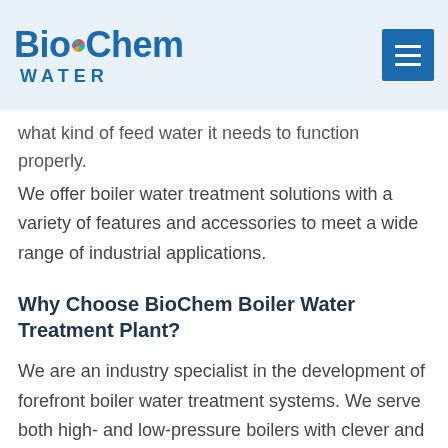BioChem WATER
what kind of feed water it needs to function properly. We offer boiler water treatment solutions with a variety of features and accessories to meet a wide range of industrial applications.
Why Choose BioChem Boiler Water Treatment Plant?
We are an industry specialist in the development of forefront boiler water treatment systems. We serve both high- and low-pressure boilers with clever and valuable water treatment solutions. BioChem promises that the proper treatment is used before issues like